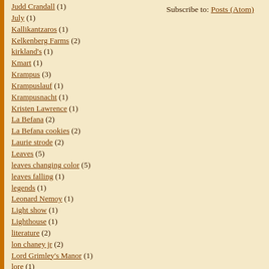Judd Crandall (1)
July (1)
Kallikantzaros (1)
Kelkenberg Farms (2)
kirkland's (1)
Kmart (1)
Krampus (3)
Krampuslauf (1)
Krampusnacht (1)
Kristen Lawrence (1)
La Befana (2)
La Befana cookies (2)
Laurie strode (2)
Leaves (5)
leaves changing color (5)
leaves falling (1)
legends (1)
Leonard Nemoy (1)
Light show (1)
Lighthouse (1)
literature (2)
lon chaney jr (2)
Lord Grimley's Manor (1)
lore (1)
lost in woods (1)
Louisiana Voodoo (1)
Lurch (1)
M A Campbell (1)
m night shymalan (1)
Subscribe to: Posts (Atom)